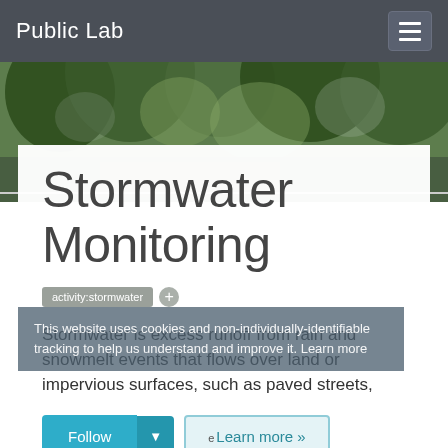Public Lab
[Figure (photo): Blurred background photo of green trees and foliage]
Stormwater Monitoring
activity:stormwater +
This website uses cookies and non-individually-identifiable tracking to help us understand and improve it. Learn more
Stormwater is excess runoff from rain and snowmelt events that flows over land or impervious surfaces, such as paved streets,
Follow  Learn more »